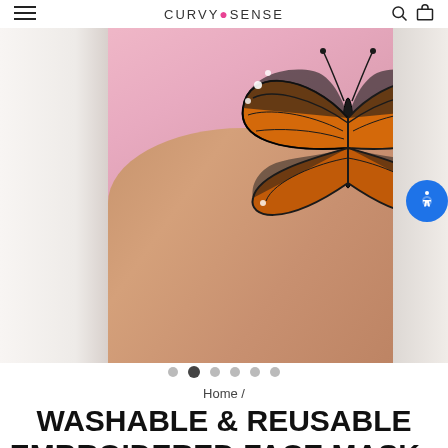CURVYSENSE
[Figure (photo): Close-up product photo of a pink face mask with monarch butterfly embroidery being worn, showing the mask at an angle revealing the butterfly design and the wearer's neck/skin. A blue accessibility icon is visible on the right side. Two partial images visible on left and right edges.]
Home /
WASHABLE & REUSABLE EMBROIDERED FACE MASK - BUTTERFLY